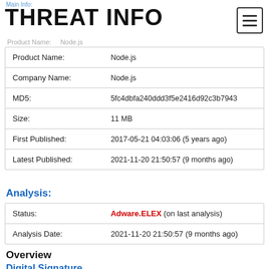Main Info:
THREAT INFO
| Field | Value |
| --- | --- |
| Product Name: | Node.js |
| Company Name: | Node.js |
| MD5: | 5fc4dbfa240ddd3f5e2416d92c3b7943 |
| Size: | 11 MB |
| First Published: | 2017-05-21 04:03:06 (5 years ago) |
| Latest Published: | 2021-11-20 21:50:57 (9 months ago) |
Analysis:
| Field | Value |
| --- | --- |
| Status: | Adware.ELEX (on last analysis) |
| Analysis Date: | 2021-11-20 21:50:57 (9 months ago) |
Overview
Digital Signature